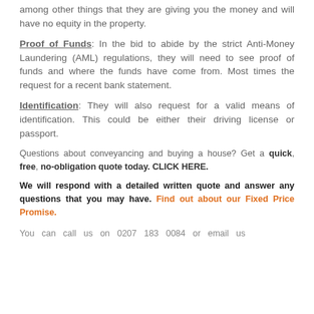among other things that they are giving you the money and will have no equity in the property.
Proof of Funds: In the bid to abide by the strict Anti-Money Laundering (AML) regulations, they will need to see proof of funds and where the funds have come from. Most times the request for a recent bank statement.
Identification: They will also request for a valid means of identification. This could be either their driving license or passport.
Questions about conveyancing and buying a house? Get a quick, free, no-obligation quote today. CLICK HERE.
We will respond with a detailed written quote and answer any questions that you may have. Find out about our Fixed Price Promise.
You can call us on 0207 183 0084 or email us